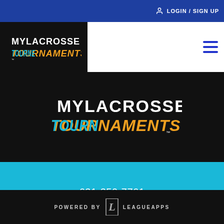LOGIN / SIGN UP
[Figure (logo): MyLacrosse Tournaments logo in header bar - white MYLACROSSE text above orange/blue italic TOURNAMENTS text on black background]
[Figure (logo): MyLacrosse Tournaments large centered logo - white MYLACROSSE text above orange/blue italic TOURNAMENTS text on black background]
631-350-7761
[Figure (other): Social media icons: Facebook, Instagram, Twitter]
info@mylacrossetournaments.com
POWERED BY LEAGUEAPPS